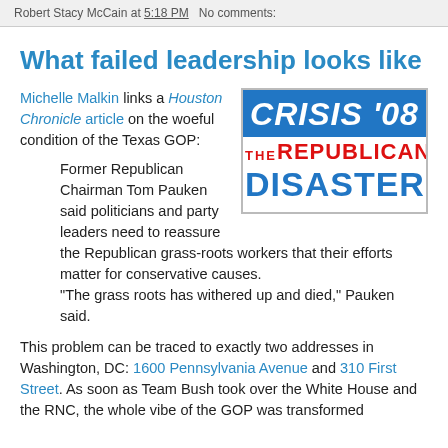Robert Stacy McCain at 5:18 PM   No comments:
What failed leadership looks like
Michelle Malkin links a Houston Chronicle article on the woeful condition of the Texas GOP:
[Figure (logo): CRISIS '08 THE REPUBLICAN DISASTER logo — blue background with white text for CRISIS '08, red text for THE REPUBLICAN, and blue text for DISASTER on white background]
Former Republican Chairman Tom Pauken said politicians and party leaders need to reassure the Republican grass-roots workers that their efforts matter for conservative causes. "The grass roots has withered up and died," Pauken said.
This problem can be traced to exactly two addresses in Washington, DC: 1600 Pennsylvania Avenue and 310 First Street. As soon as Team Bush took over the White House and the RNC, the whole vibe of the GOP was transformed